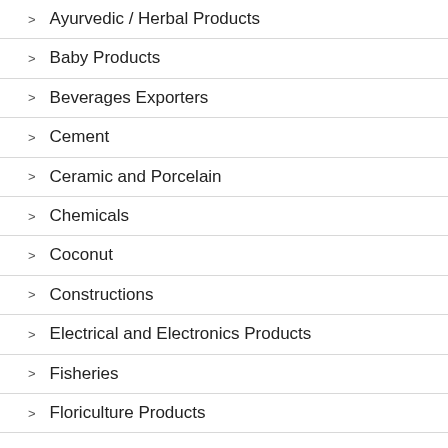Ayurvedic / Herbal Products
Baby Products
Beverages Exporters
Cement
Ceramic and Porcelain
Chemicals
Coconut
Constructions
Electrical and Electronics Products
Fisheries
Floriculture Products